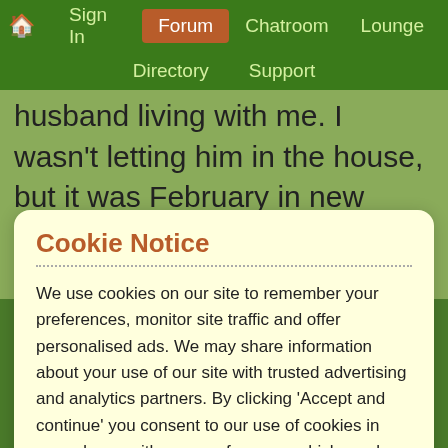🏠 Sign In | Forum | Chatroom | Lounge | Directory | Support
husband living with me. I wasn't letting him in the house, but it was February in new England and I set him up in the heated basement. It was
Cookie Notice
We use cookies on our site to remember your preferences, monitor site traffic and offer personalised ads. We may share information about your use of our site with trusted advertising and analytics partners. By clicking 'Accept and continue' you consent to our use of cookies in accordance with your preferences which can be reviewed / updated at any time via our Privacy Policy.
Accept and continue